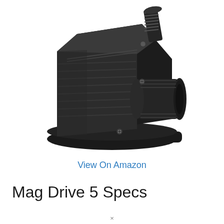[Figure (photo): A black Mag Drive 5 water pump with a threaded outlet on top and a large inlet port on the right side, mounted on a flat base with visible screws. The pump body is dark plastic with ribbed cylindrical sections.]
View On Amazon
Mag Drive 5 Specs